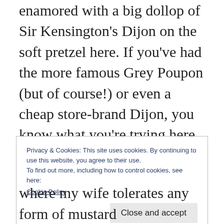enamored with a big dollop of Sir Kensington's Dijon on the soft pretzel here.  If you've had the more famous Grey Poupon (but of course!) or even a cheap store-brand Dijon, you know what you're trying here — smooth texture, a little flavor from white wine, a little spice you can feel in your nostrils.  But I keep this particular mustard on hand for one purpose: LAMB.  Dijon goes so well with the rich and slightly gamey flavor of lamb, which my wife and I both love.  I buy thick-cut lamb loin
Privacy & Cookies: This site uses cookies. By continuing to use this website, you agree to their use.
To find out more, including how to control cookies, see here: Cookie Policy
where my wife tolerates any form of mustard